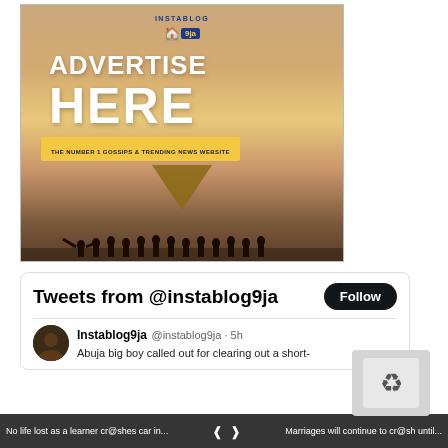[Figure (illustration): Instablog9ja advertisement banner showing 'ADVERTISE HERE' in large white bold text on a warm sunset background, with silhouettes of people at the bottom and a downward-pointing triangle arrow. Text reads 'THE NUMBER 1 GOSSIPS & TRENDING NEWS WEBSITE'.]
Tweets from @instablog9ja
Follow
Instablog9ja @instablog9ja · 5h
Abuja big boy called out for clearing out a short-
No life lost as a learner cr@shes car in...
Marriages will continue to cr@sh until...